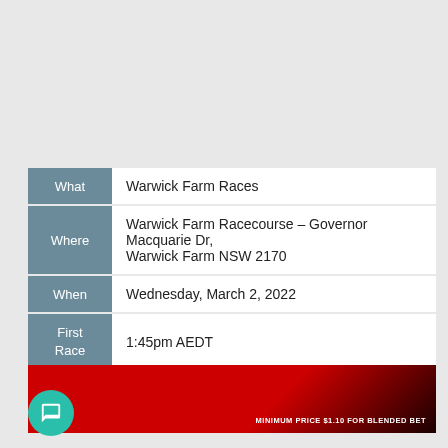| Label | Value |
| --- | --- |
| What | Warwick Farm Races |
| Where | Warwick Farm Racecourse – Governor Macquarie Dr, Warwick Farm NSW 2170 |
| When | Wednesday, March 2, 2022 |
| First Race | 1:45pm AEDT |
| Watch Live |  |
[Figure (other): Red and dark gradient banner with text 'MINIMUM PRICE $1.10 FOR BLENDED BET' at bottom right, and a teal chat bubble icon at the bottom left]